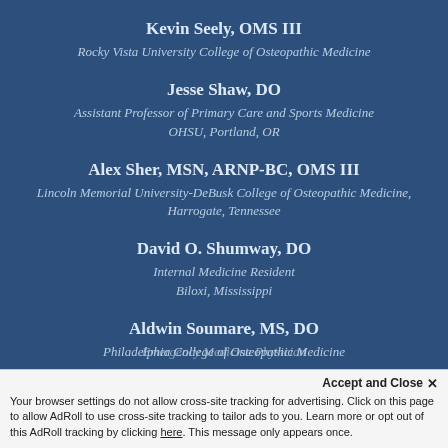Kevin Seely, OMS III
Rocky Vista University College of Osteopathic Medicine
Jesse Shaw, DO
Assistant Professor of Primary Care and Sports Medicine
OHSU, Portland, OR
Alex Sher, MSN, ARNP-BC, OMS III
Lincoln Memorial University-DeBusk College of Osteopathic Medicine, Harrogate, Tennessee
David O. Shumway, DO
Internal Medicine Resident
Biloxi, Mississippi
Aldwin Soumare, MS, DO
Philadelphia College of Osteopathic Medicine
Jason Vadhan, DO
Accept and Close ✕
Your browser settings do not allow cross-site tracking for advertising. Click on this page to allow AdRoll to use cross-site tracking to tailor ads to you. Learn more or opt out of this AdRoll tracking by clicking here. This message only appears once.